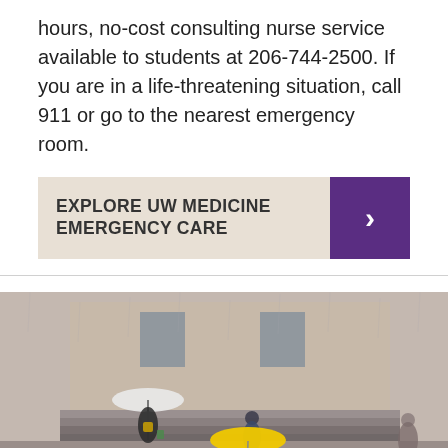hours, no-cost consulting nurse service available to students at 206-744-2500. If you are in a life-threatening situation, call 911 or go to the nearest emergency room.
EXPLORE UW MEDICINE EMERGENCY CARE
[Figure (photo): Rainy day on UW campus with people walking with umbrellas, including a person with a yellow umbrella and another with a white umbrella, in front of a stone building with steps]